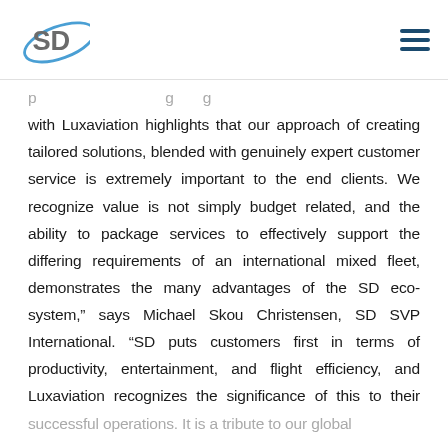SD
p ... g g with Luxaviation highlights that our approach of creating tailored solutions, blended with genuinely expert customer service is extremely important to the end clients. We recognize value is not simply budget related, and the ability to package services to effectively support the differing requirements of an international mixed fleet, demonstrates the many advantages of the SD eco-system,” says Michael Skou Christensen, SD SVP International. “SD puts customers first in terms of productivity, entertainment, and flight efficiency, and Luxaviation recognizes the significance of this to their successful operations. It is a tribute to our global